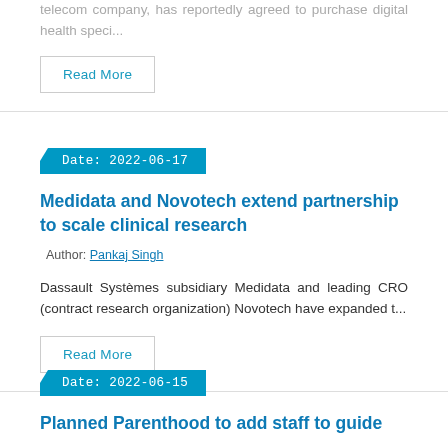telecom company, has reportedly agreed to purchase digital health speci...
Read More
Date: 2022-06-17
Medidata and Novotech extend partnership to scale clinical research
Author: Pankaj Singh
Dassault Systèmes subsidiary Medidata and leading CRO (contract research organization) Novotech have expanded t...
Read More
Date: 2022-06-15
Planned Parenthood to add staff to guide